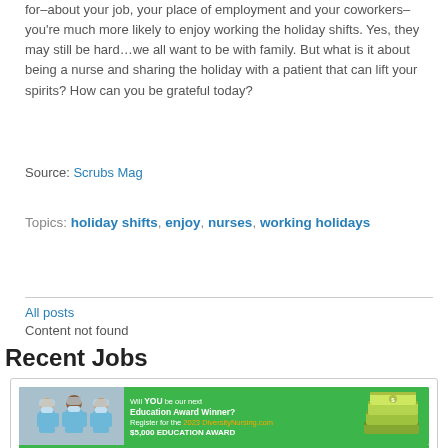for–about your job, your place of employment and your coworkers–you're much more likely to enjoy working the holiday shifts. Yes, they may still be hard…we all want to be with family. But what is it about being a nurse and sharing the holiday with a patient that can lift your spirits? How can you be grateful today?
Source: Scrubs Mag
Topics: holiday shifts, enjoy, nurses, working holidays
All posts
Content not found
Recent Jobs
[Figure (infographic): Advertisement banner for DiversityNursing.com 2023 $5,000 Education Award. Green background with nurses in masks on left, text in center asking 'Will YOU be our next Education Award Winner? Register for the 2023 DiversityNursing.com $5,000 EDUCATION AWARD', and stack of money on right. Bottom text: 'Click HERE to Register NOW · Registration Closes May 3rd, 2023, No Essay is Required!']